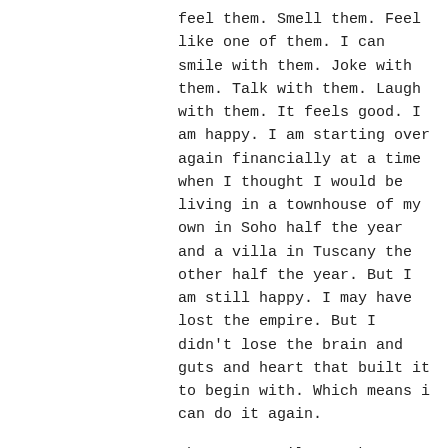feel them. Smell them. Feel like one of them. I can smile with them. Joke with them. Talk with them. Laugh with them. It feels good. I am happy. I am starting over again financially at a time when I thought I would be living in a townhouse of my own in Soho half the year and a villa in Tuscany the other half the year. But I am still happy. I may have lost the empire. But I didn't lose the brain and guts and heart that built it to begin with. Which means i can do it again.

That was until a week ago when aforesaid box of UltraMax Gold stared me right in the eye at this particular health food store. I asked the sales clerk how the product was selling. He said